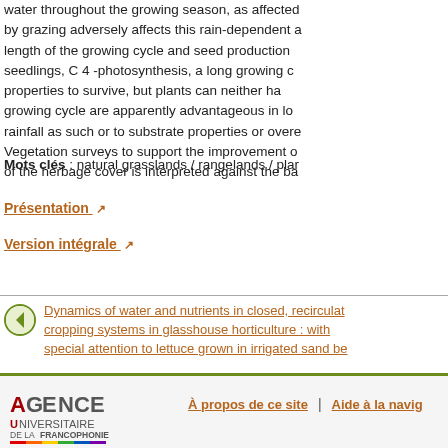water throughout the growing season, as affected by grazing adversely affects this rain-dependent a length of the growing cycle and seed production seedlings, C 4 -photosynthesis, a long growing c properties to survive, but plants can neither ha growing cycle are apparently advantageous in lo rainfall as such or to substrate properties or overe Vegetation surveys to support the improvement o of the herbage cover is interpreted against the ba
Mots clés : natural grasslands / rangelands / plar
Présentation ↗
Version intégrale ↗
[Figure (other): Navigation arrow icon (left-pointing triangle in green circle) followed by a link to 'Dynamics of water and nutrients in closed, recirculating cropping systems in glasshouse horticulture : with special attention to lettuce grown in irrigated sand be']
[Figure (logo): Agence Universitaire de la Francophonie logo with colored letters and rainbow bar]
À propos de ce site
Aide à la navig